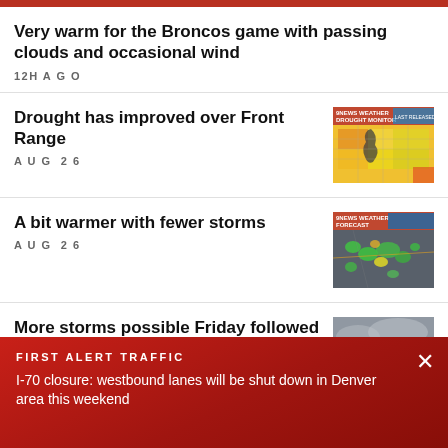Very warm for the Broncos game with passing clouds and occasional wind
12H AGO
Drought has improved over Front Range
AUG 26
[Figure (map): Weather drought monitor map showing Front Range with orange, yellow, and green regions indicating drought improvement]
A bit warmer with fewer storms
AUG 26
[Figure (map): Weather forecast map showing storm radar with green and yellow precipitation areas over gray background]
More storms possible Friday followed by a drier weekend
[Figure (photo): Overcast cloudy sky photo]
FIRST ALERT TRAFFIC
I-70 closure: westbound lanes will be shut down in Denver area this weekend